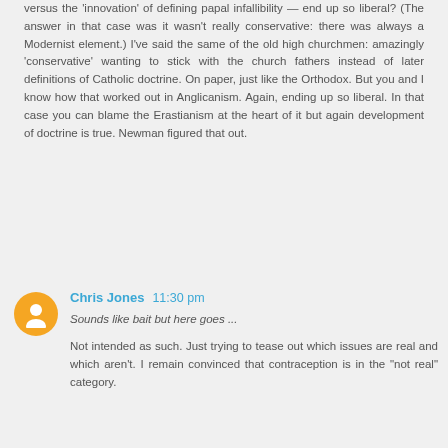versus the 'innovation' of defining papal infallibility — end up so liberal? (The answer in that case was it wasn't really conservative: there was always a Modernist element.) I've said the same of the old high churchmen: amazingly 'conservative' wanting to stick with the church fathers instead of later definitions of Catholic doctrine. On paper, just like the Orthodox. But you and I know how that worked out in Anglicanism. Again, ending up so liberal. In that case you can blame the Erastianism at the heart of it but again development of doctrine is true. Newman figured that out.
Chris Jones  11:30 pm
Sounds like bait but here goes ...
Not intended as such. Just trying to tease out which issues are real and which aren't. I remain convinced that contraception is in the "not real" category.